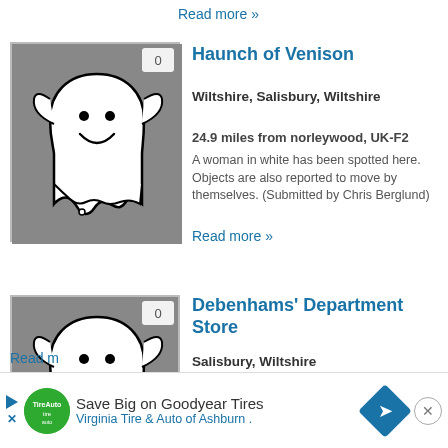Read more »
[Figure (illustration): Ghost cartoon icon in grey box with badge showing 0]
Haunch of Venison
Wiltshire, Salisbury, Wiltshire
24.9 miles from norleywood, UK-F2
A woman in white has been spotted here. Objects are also reported to move by themselves. (Submitted by Chris Berglund)
Read more »
[Figure (illustration): Ghost cartoon icon in grey box with badge showing 0]
Debenhams' Department Store
Salisbury, Wiltshire
25 miles from norleywood, UK-F2
The headless apparition of the Duke of Buckingham has been seen here. He was executed back in the fifteenth century.
Read m...
Save Big on Goodyear Tires
Virginia Tire & Auto of Ashburn .